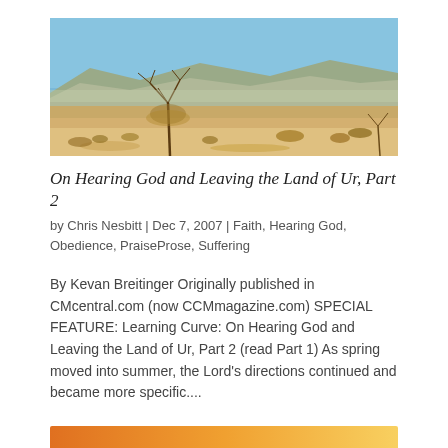[Figure (photo): Wide panoramic photograph of a desert landscape with dry scrub brush in the foreground, sandy terrain, distant mountains, and a blue sky.]
On Hearing God and Leaving the Land of Ur, Part 2
by Chris Nesbitt | Dec 7, 2007 | Faith, Hearing God, Obedience, PraiseProse, Suffering
By Kevan Breitinger Originally published in CMcentral.com (now CCMmagazine.com) SPECIAL FEATURE: Learning Curve: On Hearing God and Leaving the Land of Ur, Part 2 (read Part 1) As spring moved into summer, the Lord’s directions continued and became more specific....